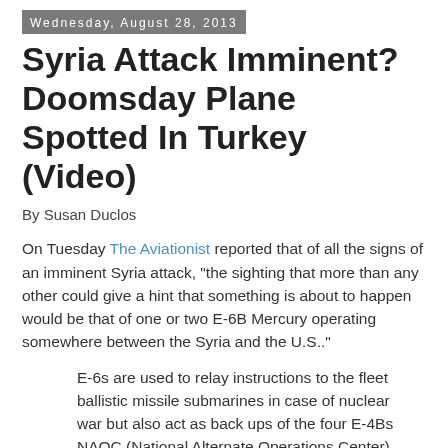Wednesday, August 28, 2013
Syria Attack Imminent? Doomsday Plane Spotted In Turkey (Video)
By Susan Duclos
On Tuesday The Aviationist reported that of all the signs of an imminent Syria attack, "the sighting that more than any other could give a hint that something is about to happen would be that of one or two E-6B Mercury operating somewhere between the Syria and the U.S.."
E-6s are used to relay instructions to the fleet ballistic missile submarines in case of nuclear war but also act as back ups of the four E-4Bs NAOC (National Alternate Operations Center), working as ABNCP (Airborne Command Post) platforms: in other words, in case of war, terrorist attack, armageddon etc (that’s why they are dubbed “doomsday planes”) they can direct